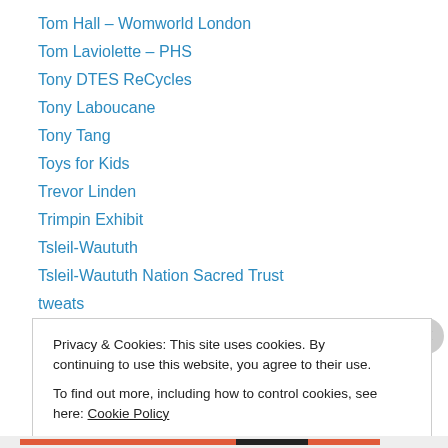Tom Hall – Womworld London
Tom Laviolette – PHS
Tony DTES ReCycles
Tony Laboucane
Tony Tang
Toys for Kids
Trevor Linden
Trimpin Exhibit
Tsleil-Waututh
Tsleil-Waututh Nation Sacred Trust
tweats
tweets and eats
Twinks! Twinks! Twinks!
Privacy & Cookies: This site uses cookies. By continuing to use this website, you agree to their use. To find out more, including how to control cookies, see here: Cookie Policy